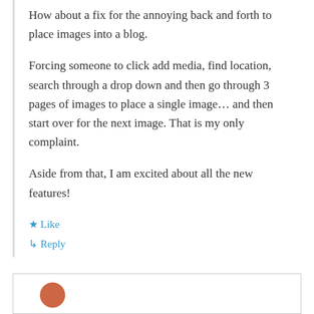How about a fix for the annoying back and forth to place images into a blog.
Forcing someone to click add media, find location, search through a drop down and then go through 3 pages of images to place a single image… and then start over for the next image. That is my only complaint.
Aside from that, I am excited about all the new features!
★ Like
↳ Reply